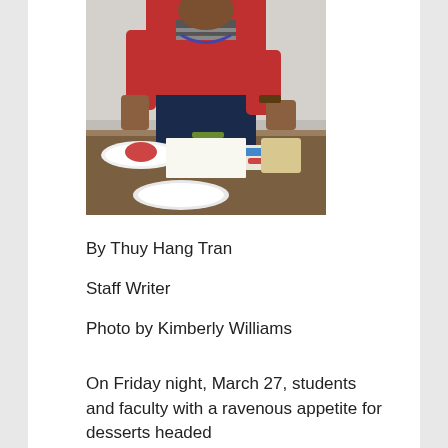[Figure (photo): A person wearing a red jacket and striped shirt standing at a worktable with various items including plates, a container, and small objects on the table surface. The setting appears to be an art studio or workshop.]
By Thuy Hang Tran
Staff Writer
Photo by Kimberly Williams
On Friday night, March 27, students and faculty with a ravenous appetite for desserts headed